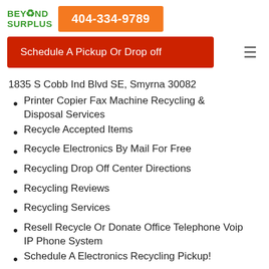[Figure (logo): Beyond Surplus logo with green recycling icon and text]
404-334-9789
Schedule A Pickup Or Drop off
1835 S Cobb Ind Blvd SE, Smyrna 30082
Printer Copier Fax Machine Recycling & Disposal Services
Recycle Accepted Items
Recycle Electronics By Mail For Free
Recycling Drop Off Center Directions
Recycling Reviews
Recycling Services
Resell Recycle Or Donate Office Telephone Voip IP Phone System
Schedule A Electronics Recycling Pickup!